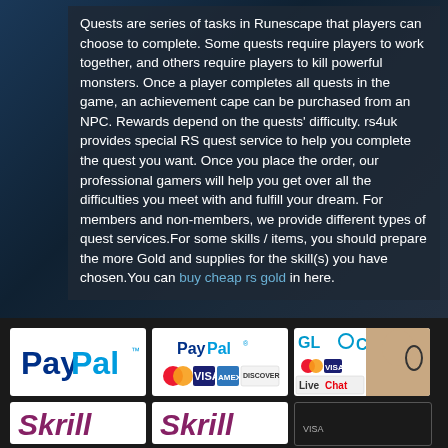Quests are series of tasks in Runescape that players can choose to complete. Some quests require players to work together, and others require players to kill powerful monsters. Once a player completes all quests in the game, an achievement cape can be purchased from an NPC. Rewards depend on the quests' difficulty. rs4uk provides special RS quest service to help you complete the quest you want. Once you place the order, our professional gamers will help you get over all the difficulties you meet with and fulfill your dream. For members and non-members, we provide different types of quest services.For some skills / items, you should prepare the more Gold and supplies for the skill(s) you have chosen.You can buy cheap rs gold in here.
[Figure (logo): PayPal logo - blue text]
[Figure (logo): PayPal with Mastercard, VISA, Amex, Discover card logos]
[Figure (logo): GloC with Mastercard, VISA and LiveChat with woman customer service agent]
[Figure (logo): Skrill logo - pink/magenta text]
[Figure (logo): Skrill logo - pink/magenta text second instance]